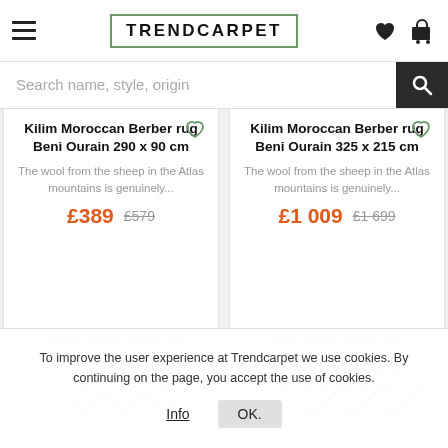TRENDCARPET
Search name, style, origin
Kilim Moroccan Berber rug Beni Ourain 290 x 90 cm
The wool from the sheep in the Atlas mountains is genuinely...
£389  £579
Kilim Moroccan Berber rug Beni Ourain 325 x 215 cm
The wool from the sheep in the Atlas mountains is genuinely...
£1 009  £1 699
[Figure (photo): Kilim Moroccan Berber rug with diamond pattern, cream/beige color]
[Figure (photo): Kilim Moroccan Berber rug with diamond pattern, cream/beige color]
To improve the user experience at Trendcarpet we use cookies. By continuing on the page, you accept the use of cookies.